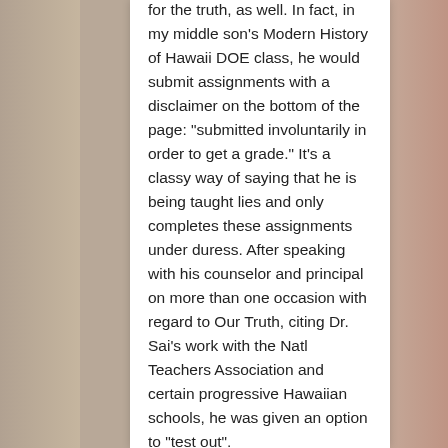for the truth, as well. In fact, in my middle son's Modern History of Hawaii DOE class, he would submit assignments with a disclaimer on the bottom of the page: “submitted involuntarily in order to get a grade.” It’s a classy way of saying that he is being taught lies and only completes these assignments under duress. After speaking with his counselor and principal on more than one occasion with regard to Our Truth, citing Dr. Sai’s work with the Natl Teachers Association and certain progressive Hawaiian schools, he was given an option to “test out”.